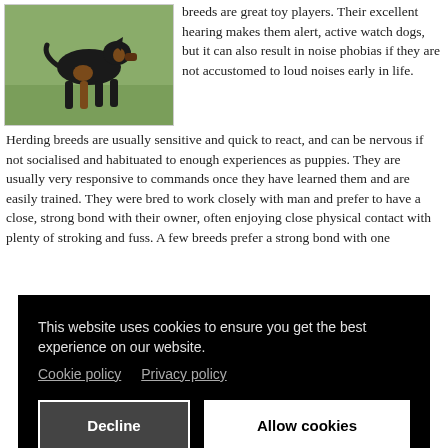[Figure (photo): A dog (appears to be a Doberman or similar breed) walking on grass outdoors.]
breeds are great toy players. Their excellent hearing makes them alert, active watch dogs, but it can also result in noise phobias if they are not accustomed to loud noises early in life. Herding breeds are usually sensitive and quick to react, and can be nervous if not socialised and habituated to enough experiences as puppies. They are usually very responsive to commands once they have learned them and are easily trained. They were bred to work closely with man and prefer to have a close, strong bond with their owner, often enjoying close physical contact with plenty of stroking and fuss. A few breeds prefer a strong bond with one
This website uses cookies to ensure you get the best experience on our website.
Cookie policy   Privacy policy
Decline
Allow cookies
...ere strong guarding instincts and need adequate socialisation to